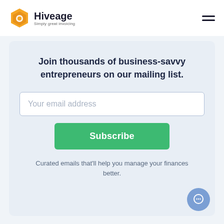[Figure (logo): Hiveage logo with orange hexagon icon and text 'Hiveage - Simply great invoicing']
Join thousands of business-savvy entrepreneurs on our mailing list.
Your email address
Subscribe
Curated emails that'll help you manage your finances better.